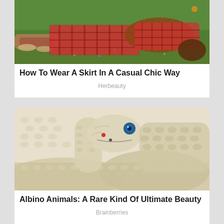[Figure (photo): Person lying on grass wearing plaid/checkered red clothing and sandals, viewed from above]
How To Wear A Skirt In A Casual Chic Way
Herbeauty
[Figure (photo): Close-up of an albino snake with a blue eye and pale cream/white scales, coiled on a textured surface]
Albino Animals: A Rare Kind Of Ultimate Beauty
Brainberries